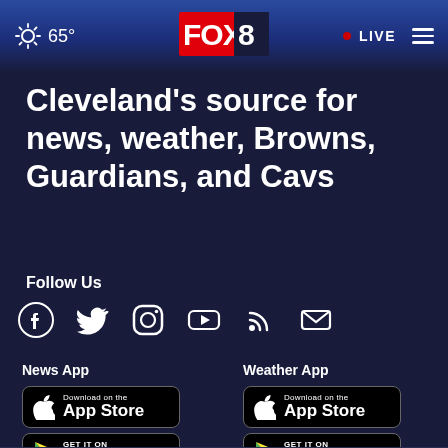FOX 8 | 65° | LIVE
Cleveland's source for news, weather, Browns, Guardians, and Cavs
Follow Us
[Figure (infographic): Social media icons: Facebook, Twitter, Instagram, YouTube, RSS, Email]
News App
[Figure (infographic): Download on the App Store badge]
[Figure (infographic): GET IT ON Google Play badge]
Weather App
[Figure (infographic): Download on the App Store badge]
[Figure (infographic): GET IT ON Google Play badge]